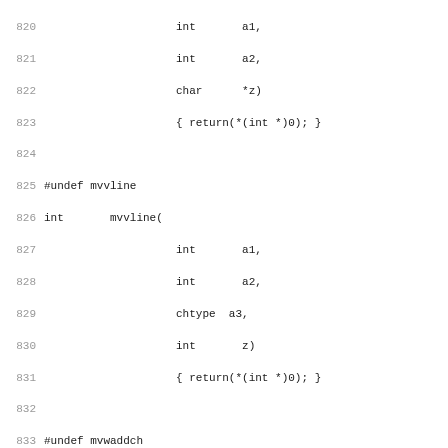Code listing lines 820-851, C function stubs for mvvline, mvwaddch, mvwaddchnstr, mvwaddchstr
820-851 showing #undef and int function declarations with parameters and return(*(int *)0); stubs